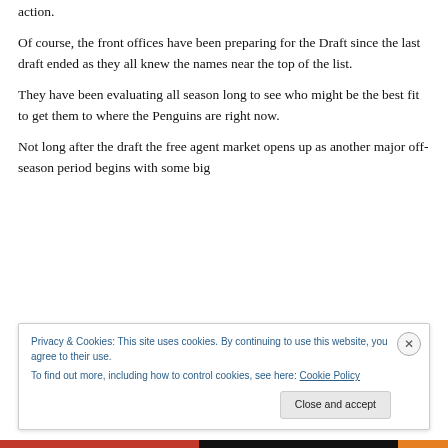action.
Of course, the front offices have been preparing for the Draft since the last draft ended as they all knew the names near the top of the list.
They have been evaluating all season long to see who might be the best fit to get them to where the Penguins are right now.
Not long after the draft the free agent market opens up as another major off-season period begins with some big
Privacy & Cookies: This site uses cookies. By continuing to use this website, you agree to their use. To find out more, including how to control cookies, see here: Cookie Policy